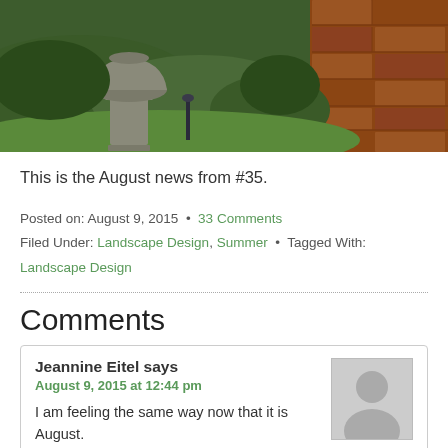[Figure (photo): Garden scene with a stone urn planter on a pedestal surrounded by green hedges, with a brick pathway visible on the right side.]
This is the August news from #35.
Posted on: August 9, 2015 • 33 Comments
Filed Under: Landscape Design, Summer • Tagged With:
Landscape Design
Comments
Jeannine Eitel says
August 9, 2015 at 12:44 pm
I am feeling the same way now that it is August. To enjoy the fruits of our labour. It is so beautiful first thing in the morning and as the sun starts to set in the evening. The light on the gardens is beautiful at these times. I very much